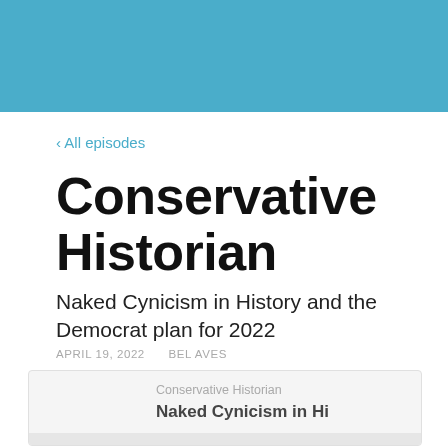[Figure (other): Blue header banner background]
‹ All episodes
Conservative Historian
Naked Cynicism in History and the Democrat plan for 2022
APRIL 19, 2022    BEL AVES
[Figure (screenshot): Podcast player card showing Conservative Historian podcast with episode title 'Naked Cynicism in Hi...' partially visible]